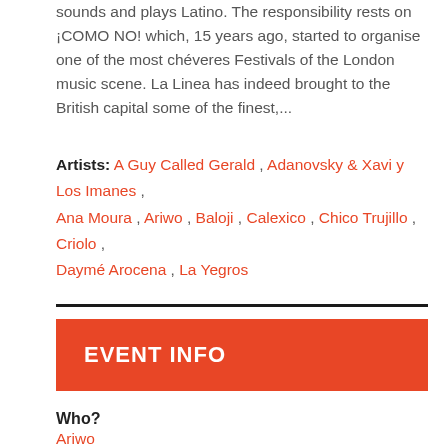sounds and plays Latino. The responsibility rests on ¡COMO NO! which, 15 years ago, started to organise one of the most chéveres Festivals of the London music scene. La Linea has indeed brought to the British capital some of the finest,...
Artists: A Guy Called Gerald , Adanovsky & Xavi y Los Imanes , Ana Moura , Ariwo , Baloji , Calexico , Chico Trujillo , Criolo , Daymé Arocena , La Yegros
EVENT INFO
Who?
Ariwo